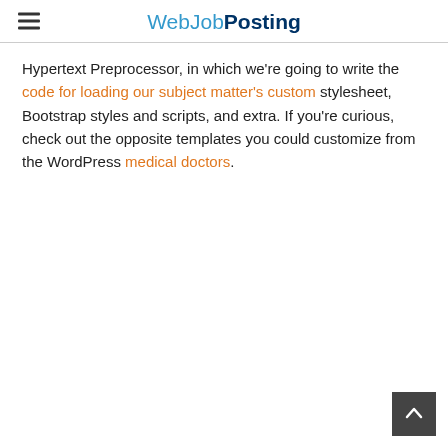WebJobPosting
Hypertext Preprocessor, in which we're going to write the code for loading our subject matter's custom stylesheet, Bootstrap styles and scripts, and extra. If you're curious, check out the opposite templates you could customize from the WordPress medical doctors.